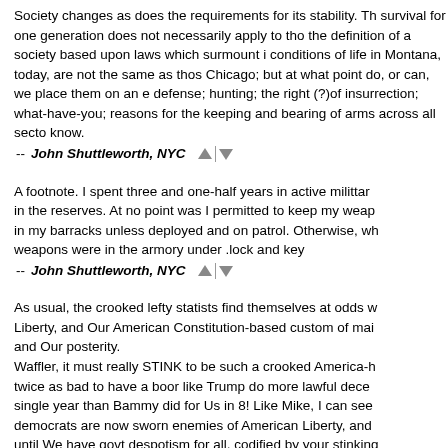Society changes as does the requirements for its stability. Th survival for one generation does not necessarily apply to tho the definition of a society based upon laws which surmount i conditions of life in Montana, today, are not the same as thos Chicago; but at what point do, or can, we place them on an e defense; hunting; the right (?)of insurrection; what-have-you; reasons for the keeping and bearing of arms across all secto know.
-- John Shuttleworth, NYC
A footnote. I spent three and one-half years in active milittar in the reserves. At no point was I permitted to keep my weap in my barracks unless deployed and on patrol. Otherwise, wh weapons were in the armory under .lock and key
-- John Shuttleworth, NYC
As usual, the crooked lefty statists find themselves at odds w Liberty, and Our American Constitution-based custom of mai and Our posterity.
Waffler, it must really STINK to be such a crooked America-h twice as bad to have a boor like Trump do more lawful dece single year than Bammy did for Us in 8! Like Mike, I can see democrats are now sworn enemies of American Liberty, and until We have govt despotism for all, codified by your stinking to the nth degree, BULLOCKS!!
To Mister Shuttleworth, I am afraid "Our" U.S. Military are ow derelict Uncle Sham ever since at least the end of WWII, the any Constitutional capacity, nor have they ever fought nor be legal war since then. No wonder they take your guns away o